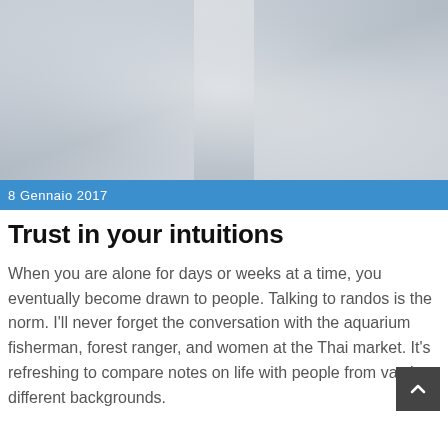[Figure (photo): Foggy or hazy outdoor scene with a corridor-like perspective, muted light grey tones suggesting fog or overcast conditions]
8 Gennaio 2017
Trust in your intuitions
When you are alone for days or weeks at a time, you eventually become drawn to people. Talking to randos is the norm. I'll never forget the conversation with the aquarium fisherman, forest ranger, and women at the Thai market. It's refreshing to compare notes on life with people from vastly different backgrounds.